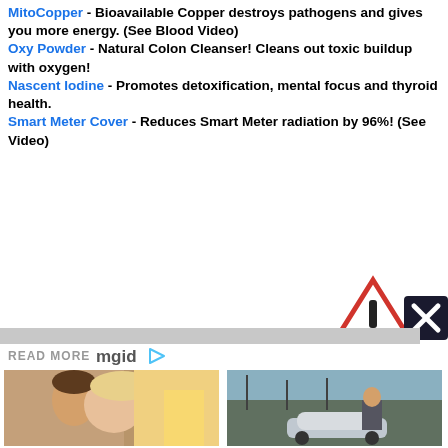MitoCopper - Bioavailable Copper destroys pathogens and gives you more energy. (See Blood Video)
Oxy Powder - Natural Colon Cleanser! Cleans out toxic buildup with oxygen!
Nascent Iodine - Promotes detoxification, mental focus and thyroid health.
Smart Meter Cover - Reduces Smart Meter radiation by 96%! (See Video)
[Figure (other): Warning triangle with exclamation mark and 'Report Ab' label, with close X button]
[Figure (infographic): READ MORE mgid logo bar]
[Figure (photo): Photo of man and woman in romantic comedy style scene]
Sometimes First Impressions Are Terrible: Funniest Rom Com Pairs
[Figure (photo): Man in suit leaning on silver BMW sports car with industrial background]
Take A Look At The Top 14 Bond Cars